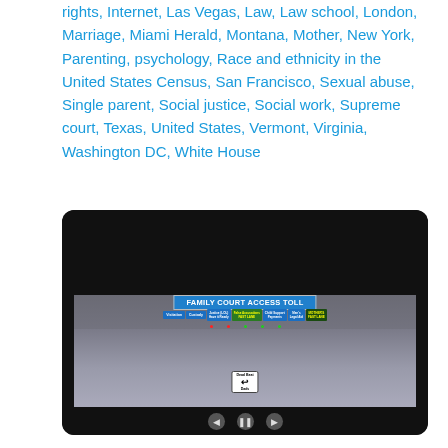rights, Internet, Las Vegas, Law, Law school, London, Marriage, Miami Herald, Montana, Mother, New York, Parenting, psychology, Race and ethnicity in the United States Census, San Francisco, Sexual abuse, Single parent, Social justice, Social work, Supreme court, Texas, United States, Vermont, Virginia, Washington DC, White House
[Figure (photo): Screenshot of a video showing a toll booth scene with the header 'FAMILY COURT ACCESS TOLL'. Lanes are labeled: Visitation, Custody, Justice (LOL) Have it Ready, False Accusations FAST LANE, Child Support Payments, Men's Legal Aid, Mother's Fast Lane. A sign in the foreground reads 'Dead Beat Dads'. Video playback controls are visible at the bottom.]